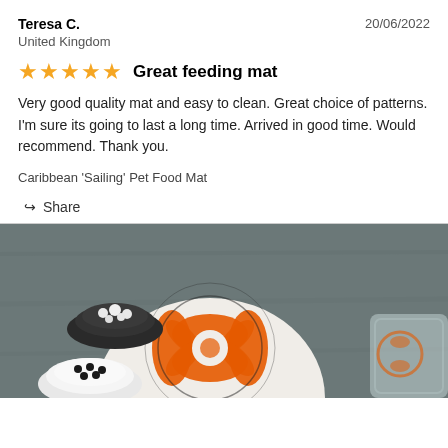Teresa C.
United Kingdom
20/06/2022
Great feeding mat
Very good quality mat and easy to clean. Great choice of patterns. I'm sure its going to last a long time. Arrived in good time. Would recommend. Thank you.
Caribbean 'Sailing' Pet Food Mat
Share
[Figure (photo): Overhead photo on dark slate background showing decorative patterned mat/plate with orange and black floral design, a small white bowl with black peppercorns, a dark bowl with white salt crystals, and a glass partially visible on the right]